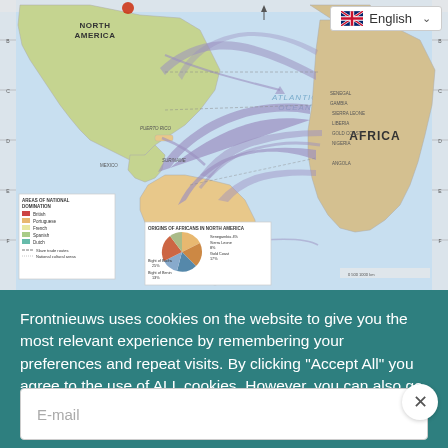[Figure (map): World map showing slave trade routes from Africa to North America and South America, with arrows indicating migration patterns across the Atlantic Ocean. Includes a legend showing areas of national domination (British, Portuguese, French, Spanish, Dutch) and a pie chart showing origins of Africans in North America. An English language selector is shown in the top-right corner.]
Frontnieuws uses cookies on the website to give you the most relevant experience by remembering your preferences and repeat visits. By clicking "Accept All" you agree to the use of ALL cookies. However, you can also go to "Cookie
E-mail
Subscribe Newsletter